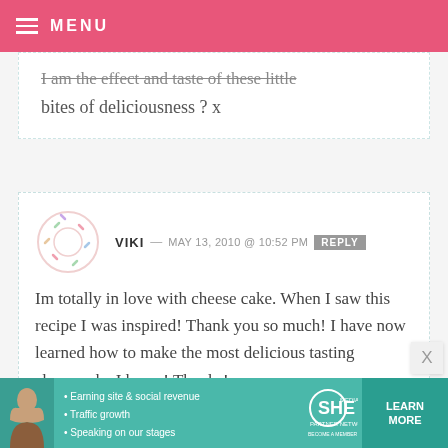MENU
I am the effect and taste of these little bites of deliciousness ? x
VIKI — MAY 13, 2010 @ 10:52 PM  REPLY
Im totally in love with cheese cake. When I saw this recipe I was inspired! Thank you so much! I have now learned how to make the most delicious tasting cheesecake I know! Thanks!
[Figure (infographic): SHE Partner Network advertisement banner with photo of woman and bullet points: Earning site & social revenue, Traffic growth, Speaking on our stages. Includes LEARN MORE button.]